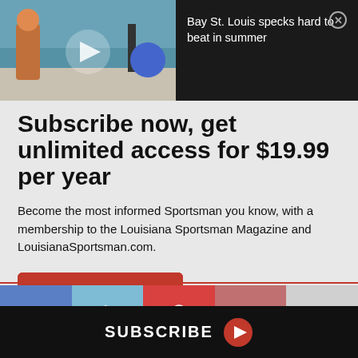[Figure (screenshot): Video overlay with fishing scene thumbnail on left, dark panel on right with title and close button]
Bay St. Louis specks hard to beat in summer
Subscribe now, get unlimited access for $19.99 per year
Become the most informed Sportsman you know, with a membership to the Louisiana Sportsman Magazine and LouisianaSportsman.com.
[Figure (infographic): Red rounded button with text SIGN UP NOW]
[Figure (infographic): Social share bar with Facebook, Twitter, Pinterest, Google+, and email icons]
SUBSCRIBE